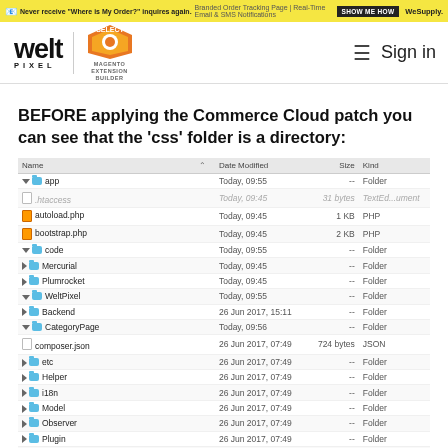Never receive 'Where is My Order?' inquires again. Branded Order Tracking Page | Real-Time Email & SMS Notifications SHOW ME HOW WeSupply.
[Figure (logo): WeltPixel logo and Magento Extension Builder Select badge with Sign in navigation]
BEFORE applying the Commerce Cloud patch you can see that the 'css' folder is a directory:
| Name |  | Date Modified | Size | Kind |
| --- | --- | --- | --- | --- |
| ▼ app |  | Today, 09:55 | -- | Folder |
| .htaccess |  | Today, 09:45 | 31 bytes | TextEd...ument |
| autoload.php |  | Today, 09:45 | 1 KB | PHP |
| bootstrap.php |  | Today, 09:45 | 2 KB | PHP |
| ▼ code |  | Today, 09:55 | -- | Folder |
|   ▶ Mercurial |  | Today, 09:45 | -- | Folder |
|   ▶ Plumrocket |  | Today, 09:45 | -- | Folder |
|   ▼ WeltPixel |  | Today, 09:55 | -- | Folder |
|     ▶ Backend |  | 26 Jun 2017, 15:11 | -- | Folder |
|     ▼ CategoryPage |  | Today, 09:56 | -- | Folder |
|       composer.json |  | 26 Jun 2017, 07:49 | 724 bytes | JSON |
|       ▶ etc |  | 26 Jun 2017, 07:49 | -- | Folder |
|       ▶ Helper |  | 26 Jun 2017, 07:49 | -- | Folder |
|       ▶ i18n |  | 26 Jun 2017, 07:49 | -- | Folder |
|       ▶ Model |  | 26 Jun 2017, 07:49 | -- | Folder |
|       ▶ Observer |  | 26 Jun 2017, 07:49 | -- | Folder |
|       ▶ Plugin |  | 26 Jun 2017, 07:49 | -- | Folder |
|       README.md |  | 26 Jun 2017, 07:49 | 995 bytes | TextEd...ument |
|       registration.php |  | 26 Jun 2017, 07:49 | 171 bytes | PHP |
|       ▶ Setup |  | 26 Jun 2017, 07:49 | -- | Folder |
|       ▶ Table |  | 26 Jun 2017, 07:49 | -- | Folder |
|     ▼ view |  | Today, 09:56 | -- | Folder |
|       ▶ adminhtml |  | 26 Jun 2017, 07:49 | -- | Folder |